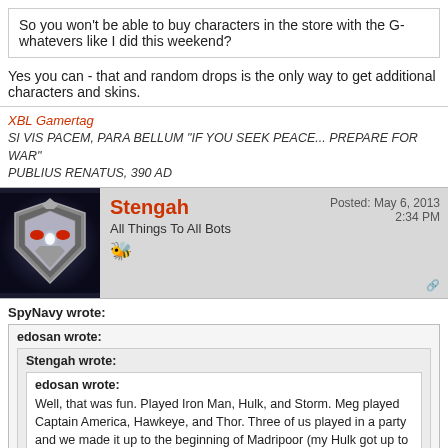So you won't be able to buy characters in the store with the G-whatevers like I did this weekend?
Yes you can - that and random drops is the only way to get additional characters and skins.
XBL Gamertag
SI VIS PACEM, PARA BELLUM "IF YOU SEEK PEACE... PREPARE FOR WAR"
PUBLIUS RENATUS, 390 AD
Stengah
All Things To All Bots
Posted: May 6, 2013 2:34 PM
SpyNavy wrote:
edosan wrote:
Stengah wrote:
edosan wrote:
Well, that was fun. Played Iron Man, Hulk, and Storm. Meg played Captain America, Hawkeye, and Thor. Three of us played in a party and we made it up to the beginning of Madripoor (my Hulk got up to level 17 by the end). Boss fights